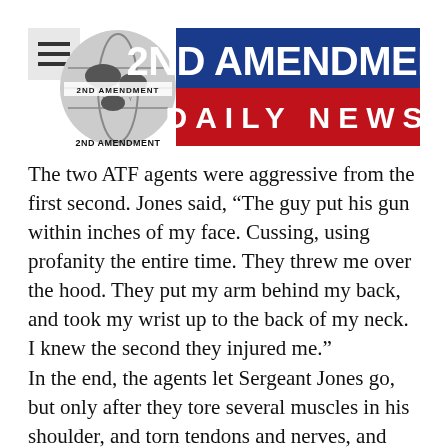[Figure (logo): 2nd Amendment Daily News logo with globe graphic, blue banner with '2ND AMENDMENT' in white text, and red banner with 'DAILY NEWS' in white text]
The two ATF agents were aggressive from the first second.  Jones said, “The guy put his gun within inches of my face. Cussing, using profanity the entire time. They threw me over the hood. They put my arm behind my back, and took my wrist up to the back of my neck. I knew the second they injured me.”
In the end, the agents let Sergeant Jones go, but only after they tore several muscles in his shoulder, and torn tendons and nerves, and